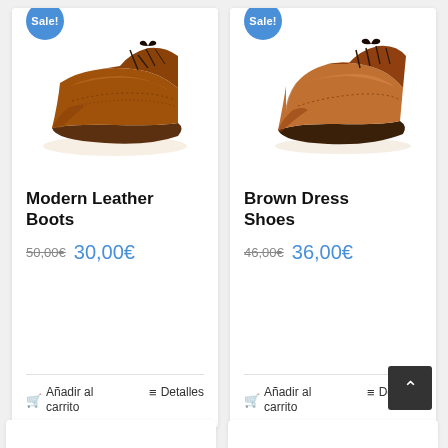[Figure (photo): Brown leather brogue boots with laces, product photo on white background, with blue Sale! badge]
Modern Leather Boots
50,00€  30,00€
Añadir al carrito   Detalles
[Figure (photo): Brown leather dress shoes (chukka boots) with laces, product photo on white background, with blue Sale! badge]
Brown Dress Shoes
46,00€  36,00€
Añadir al carrito   Detalles